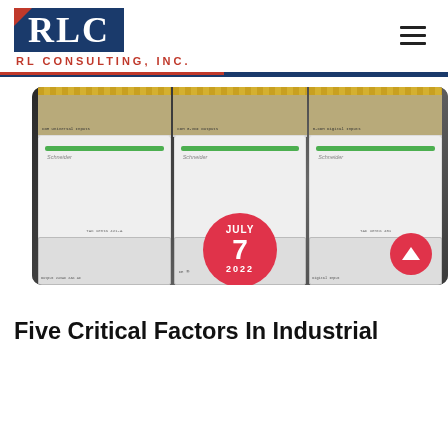[Figure (logo): RLC / RL Consulting, Inc. logo — blue rectangle with white serif RLC letters and red corner accent, red company name below]
[Figure (photo): Close-up photo of Schneider Electric TAC Xenta industrial building automation controllers mounted on a DIN rail, showing terminal blocks, green stripe labels, and connector wiring. Date badge overlay reads JULY 7 2022.]
Five Critical Factors In Industrial